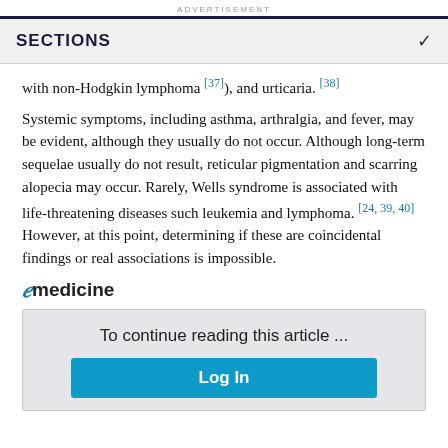ADVERTISEMENT
SECTIONS
with non-Hodgkin lymphoma [37]), and urticaria. [38]
Systemic symptoms, including asthma, arthralgia, and fever, may be evident, although they usually do not occur. Although long-term sequelae usually do not result, reticular pigmentation and scarring alopecia may occur. Rarely, Wells syndrome is associated with life-threatening diseases such leukemia and lymphoma. [24, 39, 40] However, at this point, determining if these are coincidental findings or real associations is impossible.
[Figure (logo): eMedicine logo with stylized italic e in blue followed by medicine in bold sans-serif]
To continue reading this article ...
Log In